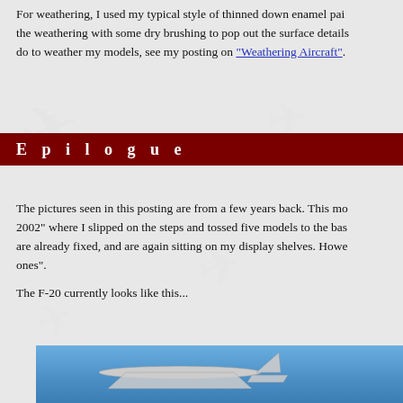For weathering, I used my typical style of thinned down enamel pai... the weathering with some dry brushing to pop out the surface details... do to weather my models, see my posting on "Weathering Aircraft".
E p i l o g u e
The pictures seen in this posting are from a few years back. This mo... 2002" where I slipped on the steps and tossed five models to the bas... are already fixed, and are again sitting on my display shelves. Howe... ones".

The F-20 currently looks like this...
[Figure (photo): Photo of an F-20 aircraft model against a blue sky background]